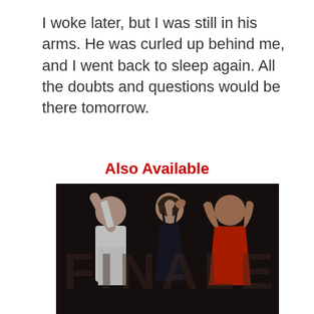I woke later, but I was still in his arms. He was curled up behind me, and I went back to sleep again. All the doubts and questions would be there tomorrow.
Also Available
[Figure (photo): A woman leaning back with her head tilted up, hands pressed together with a man in a red shirt, and another figure in white in the background, on a dark background. Appears to be a book cover or promotional image.]